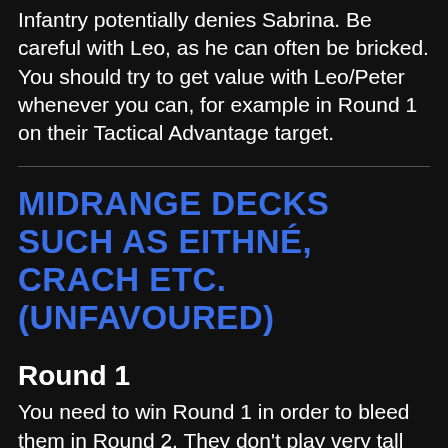Infantry potentially denies Sabrina. Be careful with Leo, as he can often be bricked. You should try to get value with Leo/Peter whenever you can, for example in Round 1 on their Tactical Advantage target.
MIDRANGE DECKS SUCH AS EITHNÉ, CRACH ETC. (UNFAVOURED)
Round 1
You need to win Round 1 in order to bleed them in Round 2. They don't play very tall and can beat you in a long Round 3. Try your best to win the round, or at least force